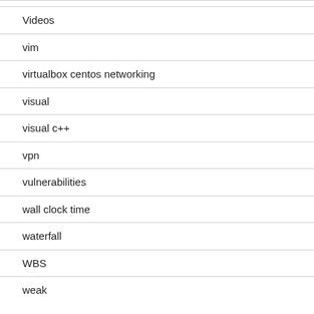Videos
vim
virtualbox centos networking
visual
visual c++
vpn
vulnerabilities
wall clock time
waterfall
WBS
weak